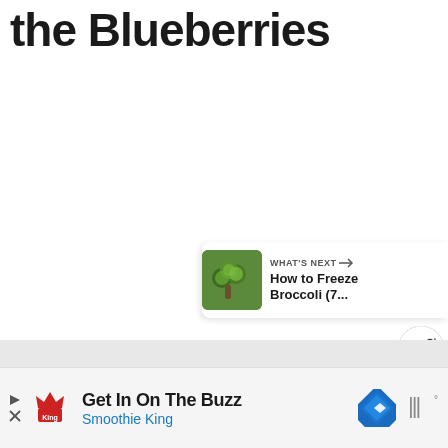the Blueberries
[Figure (illustration): Heart/favorite circular blue button (FAB)]
[Figure (illustration): Share circular white button (FAB) with share icon and plus]
[Figure (illustration): What's Next card with broccoli thumbnail, text: WHAT'S NEXT → How to Freeze Broccoli (7...]
[Figure (screenshot): Advertisement banner: Play button, Smoothie King logo, 'Get In On The Buzz', 'Smoothie King', blue diamond navigation icon, mute/audio icon]